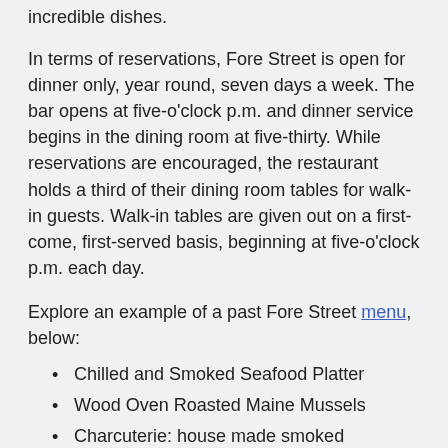incredible dishes.
In terms of reservations, Fore Street is open for dinner only, year round, seven days a week. The bar opens at five-o'clock p.m. and dinner service begins in the dining room at five-thirty. While reservations are encouraged, the restaurant holds a third of their dining room tables for walk-in guests. Walk-in tables are given out on a first-come, first-served basis, beginning at five-o'clock p.m. each day.
Explore an example of a past Fore Street menu, below:
Chilled and Smoked Seafood Platter
Wood Oven Roasted Maine Mussels
Charcuterie: house made smoked sausages, confits, rillettes, brawns, terrines and pates Hand Crafted Daily
Wood Grilled Natural Hanger Steak